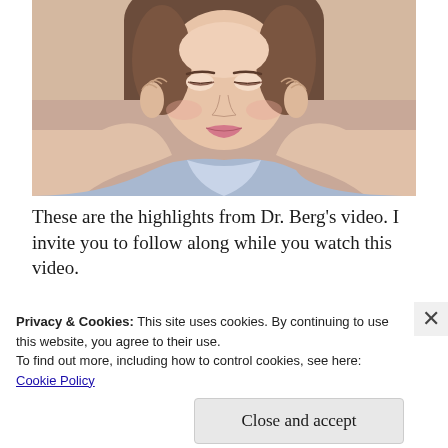[Figure (photo): A young woman with her head resting in her hands, looking distressed. She is wearing a light blue shirt. The photo is cropped to show her face and upper body.]
These are the highlights from Dr. Berg's video. I invite you to follow along while you watch this video.
Privacy & Cookies: This site uses cookies. By continuing to use this website, you agree to their use.
To find out more, including how to control cookies, see here:
Cookie Policy
Close and accept